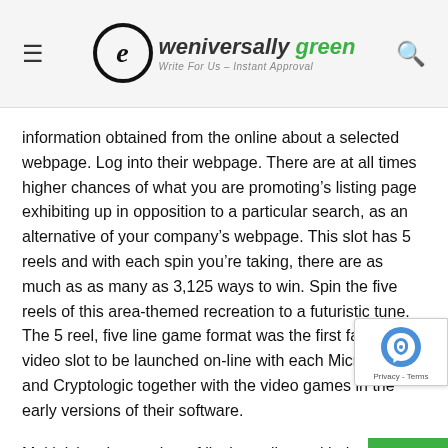eweniversally green — Write For Us – Instant Approval
information obtained from the online about a selected webpage. Log into their webpage. There are at all times higher chances of what you are promoting's listing page exhibiting up in opposition to a particular search, as an alternative of your company's webpage. This slot has 5 reels and with each spin you're taking, there are as much as as many as 3,125 ways to win. Spin the five reels of this area-themed recreation to a futuristic tune. The 5 reel, five line game format was the first fashion of video slot to be launched on-line with each Microgaming and Cryptologic together with the video games in the early versions of their software.
Multiplying the number of lively paylines with the bet per line gives the whole stake amount. Within a matter of seconds, you'll have plenty of supreme cameras advised to you. Should you do to hold a laptop laptop, and already have an Apple iPod, Be sells an attachment for utilizing your iPod with reminiscence